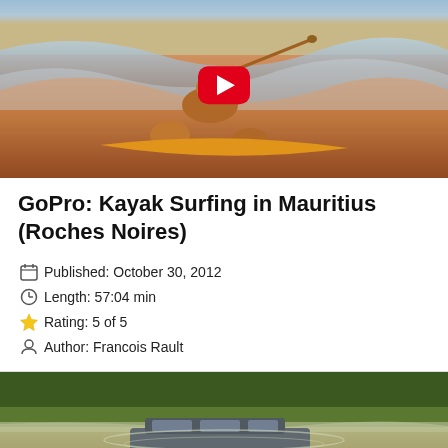[Figure (photo): Video thumbnail of a person kayak surfing on waves in Mauritius with a YouTube-style red play button overlay]
GoPro: Kayak Surfing in Mauritius (Roches Noires)
Published: October 30, 2012
Length: 57:04 min
Rating: 5 of 5
Author: Francois Rault
[Figure (photo): Thumbnail showing a car partially submerged in floodwater with green vegetation/trees in the background]